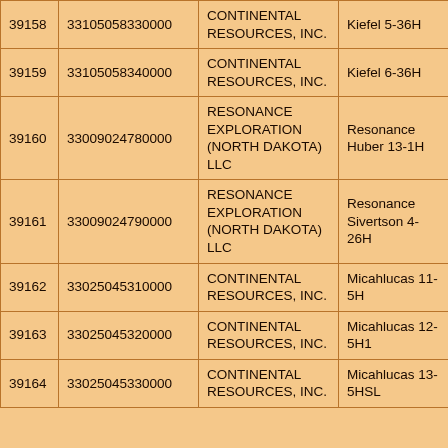|  |  |  |  |
| --- | --- | --- | --- |
| 39158 | 33105058330000 | CONTINENTAL RESOURCES, INC. | Kiefel 5-36H |
| 39159 | 33105058340000 | CONTINENTAL RESOURCES, INC. | Kiefel 6-36H |
| 39160 | 33009024780000 | RESONANCE EXPLORATION (NORTH DAKOTA) LLC | Resonance Huber 13-1H |
| 39161 | 33009024790000 | RESONANCE EXPLORATION (NORTH DAKOTA) LLC | Resonance Sivertson 4-26H |
| 39162 | 33025045310000 | CONTINENTAL RESOURCES, INC. | Micahlucas 11-5H |
| 39163 | 33025045320000 | CONTINENTAL RESOURCES, INC. | Micahlucas 12-5H1 |
| 39164 | 33025045330000 | CONTINENTAL RESOURCES, INC. | Micahlucas 13-5HSL |